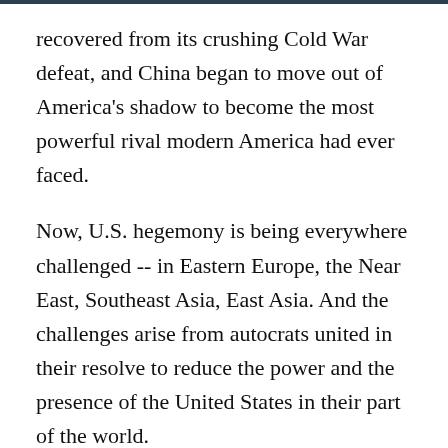recovered from its crushing Cold War defeat, and China began to move out of America's shadow to become the most powerful rival modern America had ever faced.
Now, U.S. hegemony is being everywhere challenged -- in Eastern Europe, the Near East, Southeast Asia, East Asia. And the challenges arise from autocrats united in their resolve to reduce the power and the presence of the United States in their part of the world.
All of America's adversaries have something in common: They want us out of their neighborhood.